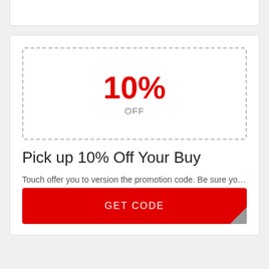[Figure (other): Coupon card showing 10% OFF discount with a dashed border box, deal title, description, usage count, and a red GET CODE button]
10%
OFF
Pick up 10% Off Your Buy
Touch offer you to version the promotion code. Be sure yo…
› 20 times used
GET CODE